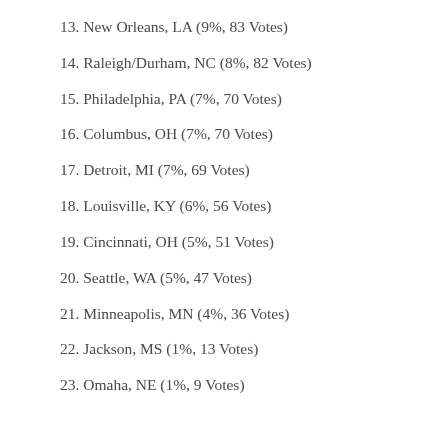13. New Orleans, LA (9%, 83 Votes)
14. Raleigh/Durham, NC (8%, 82 Votes)
15. Philadelphia, PA (7%, 70 Votes)
16. Columbus, OH (7%, 70 Votes)
17. Detroit, MI (7%, 69 Votes)
18. Louisville, KY (6%, 56 Votes)
19. Cincinnati, OH (5%, 51 Votes)
20. Seattle, WA (5%, 47 Votes)
21. Minneapolis, MN (4%, 36 Votes)
22. Jackson, MS (1%, 13 Votes)
23. Omaha, NE (1%, 9 Votes)